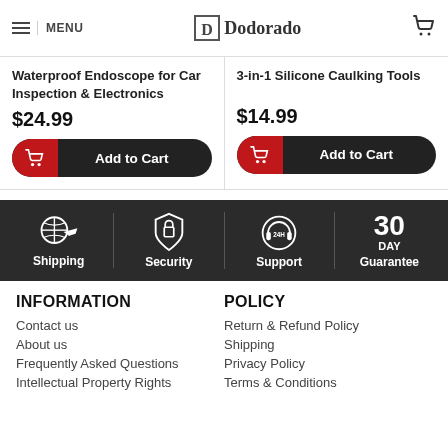MENU | Dodorado
Waterproofing Endoscope for Car Inspection & Electronics
$24.99
Add to Cart
3-in-1 Silicone Caulking Tools
$14.99
Add to Cart
[Figure (infographic): Footer bar with icons: Shipping (globe+plane), Security (shield+lock), Support (headset 24H), 30 DAY Guarantee]
INFORMATION
Contact us
About us
Frequently Asked Questions
Intellectual Property Rights
POLICY
Return & Refund Policy
Shipping
Privacy Policy
Terms & Conditions